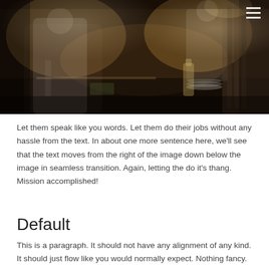[Figure (photo): Restaurant kitchen scene with chefs in white uniforms working at a dark commercial kitchen station, warm overhead lighting illuminating the workspace with plates and equipment visible]
Let them speak like you words. Let them do their jobs without any hassle from the text. In about one more sentence here, we'll see that the text moves from the right of the image down below the image in seamless transition. Again, letting the do it's thang. Mission accomplished!
Default
This is a paragraph. It should not have any alignment of any kind. It should just flow like you would normally expect. Nothing fancy. Just straight up text, free flowing, with love. Completely neutral and not picking a side or sitting on the fence. It just is. It just freaking is. It likes where it is. It does not feel compelled to pick a side. Leave him be. It will